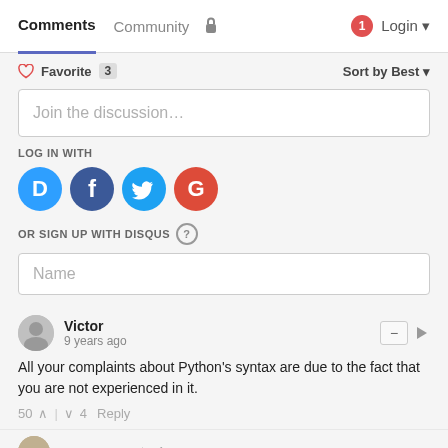Comments   Community   Login
♡ Favorite  3    Sort by Best
Join the discussion...
LOG IN WITH
[Figure (infographic): Social login icons: Disqus (D, blue), Facebook (f, dark blue), Twitter (bird, light blue), Google (G, red)]
OR SIGN UP WITH DISQUS ?
Name
Victor
9 years ago
All your complaints about Python's syntax are due to the fact that you are not experienced in it.
50  ∧  |  ∨  4   Reply